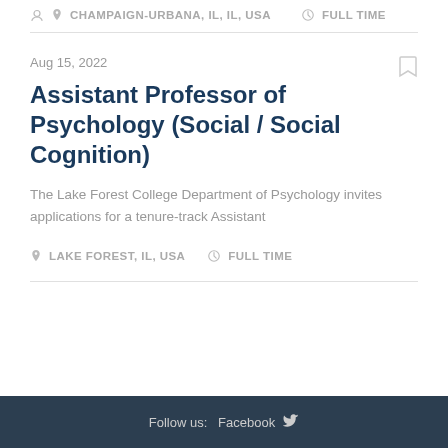CHAMPAIGN-URBANA, IL, IL, USA   FULL TIME
Aug 15, 2022
Assistant Professor of Psychology (Social / Social Cognition)
The Lake Forest College Department of Psychology invites applications for a tenure-track Assistant
LAKE FOREST, IL, USA   FULL TIME
Follow us:  Facebook